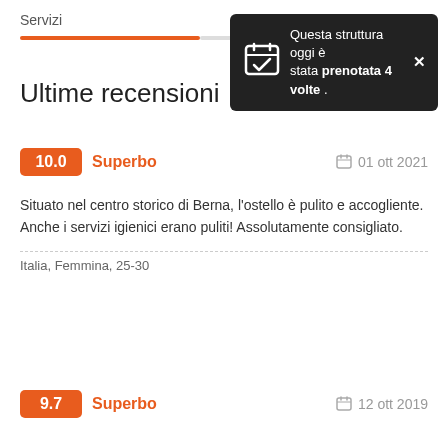Servizi
[Figure (infographic): Tooltip popup over a progress bar showing: Questa struttura oggi è stata prenotata 4 volte .]
Ultime recensioni
10.0  Superbo   01 ott 2021
Situato nel centro storico di Berna, l'ostello è pulito e accogliente. Anche i servizi igienici erano puliti! Assolutamente consigliato.
Italia, Femmina, 25-30
9.7  Superbo   12 ott 2019